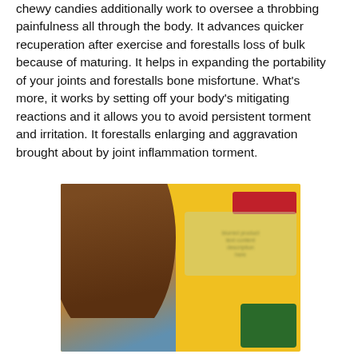chewy candies additionally work to oversee a throbbing painfulness all through the body. It advances quicker recuperation after exercise and forestalls loss of bulk because of maturing. It helps in expanding the portability of your joints and forestalls bone misfortune. What's more, it works by setting off your body's mitigating reactions and it allows you to avoid persistent torment and irritation. It forestalls enlarging and aggravation brought about by joint inflammation torment.
[Figure (photo): A blurred product advertisement image with a yellow background showing a woman with long brown hair on the left side, a red banner in the top right, some blurred green and white text in the center right, and a green product box in the bottom right corner.]